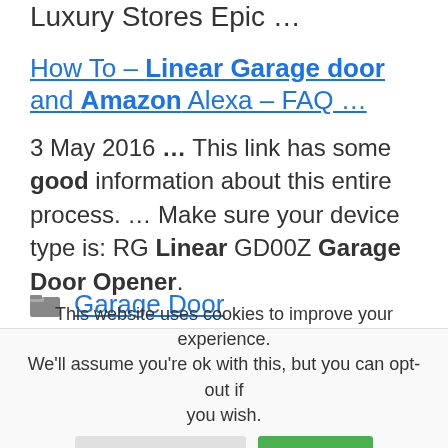Luxury Stores Epic …
How To – Linear Garage door and Amazon Alexa – FAQ …
3 May 2016 … This link has some good information about this entire process. … Make sure your device type is: RG Linear GD00Z Garage Door Opener.
Garage Door
This website uses cookies to improve your experience. We'll assume you're ok with this, but you can opt-out if you wish.